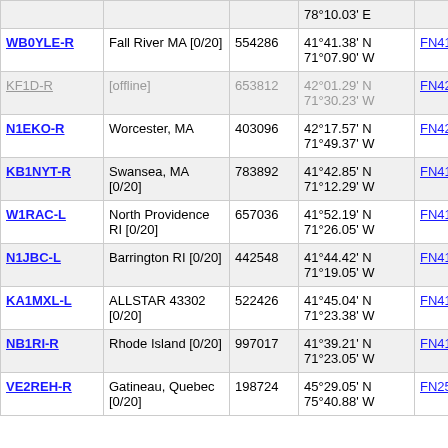| Callsign | Location | Node | Coordinates | Grid | Freq | Extra |
| --- | --- | --- | --- | --- | --- | --- |
|  |  |  | 78°10.03' E |  |  |  |
| WB0YLE-R | Fall River MA [0/20] | 554286 | 41°41.38' N 71°07.90' W | FN41kq | 3625.5 |  |
| KF1D-R | [offline] | 653812 | 42°01.29' N 71°30.23' W | FN42fa | 3625.8 |  |
| N1EKO-R | Worcester, MA | 403096 | 42°17.57' N 71°49.37' W | FN42ch | 3626.5 | 224.4 |
| KB1NYT-R | Swansea, MA [0/20] | 783892 | 41°42.85' N 71°12.29' W | FN41jr | 3627.3 |  |
| W1RAC-L | North Providence RI [0/20] | 657036 | 41°52.19' N 71°26.05' W | FN41gu | 3629.7 |  |
| N1JBC-L | Barrington RI [0/20] | 442548 | 41°44.42' N 71°19.05' W | FN41ir | 3630.7 |  |
| KA1MXL-L | ALLSTAR 43302 [0/20] | 522426 | 41°45.04' N 71°23.38' W | FN41hs | 3633.1 |  |
| NB1RI-R | Rhode Island [0/20] | 997017 | 41°39.21' N 71°23.05' W | FN41hp | 3637.2 |  |
| VE2REH-R | Gatineau, Quebec [0/20] | 198724 | 45°29.05' N 75°40.88' W | FN25dl | 3637.2 | 147.1 |